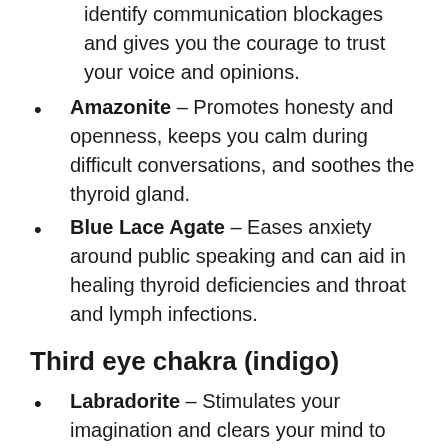identify communication blockages and gives you the courage to trust your voice and opinions.
Amazonite – Promotes honesty and openness, keeps you calm during difficult conversations, and soothes the thyroid gland.
Blue Lace Agate – Eases anxiety around public speaking and can aid in healing thyroid deficiencies and throat and lymph infections.
Third eye chakra (indigo)
Labradorite – Stimulates your imagination and clears your mind to think up new ideas and access